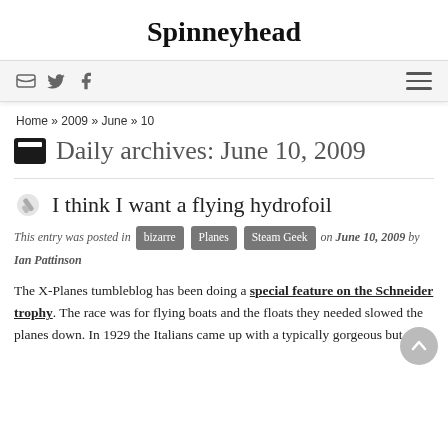Spinneyhead
[Figure (screenshot): Navigation bar with RSS, Twitter, Facebook icons on the left and hamburger menu on the right]
Home » 2009 » June » 10
Daily archives: June 10, 2009
I think I want a flying hydrofoil
This entry was posted in bizarre Planes Steam Geek on June 10, 2009 by Ian Pattinson
The X-Planes tumbleblog has been doing a special feature on the Schneider trophy. The race was for flying boats and the floats they needed slowed the planes down. In 1929 the Italians came up with a typically gorgeous but